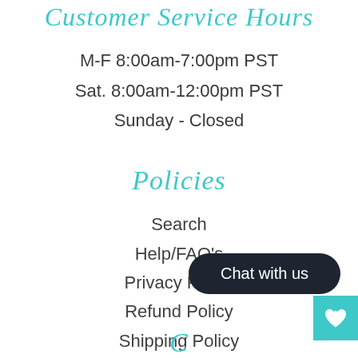Customer Service Hours
M-F 8:00am-7:00pm PST
Sat. 8:00am-12:00pm PST
Sunday - Closed
Policies
Search
Help/FAQ's
Privacy Policy
Refund Policy
Shipping Policy
Terms of Service